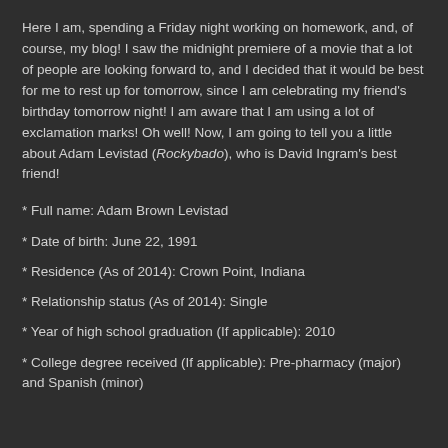Here I am, spending a Friday night working on homework, and, of course, my blog! I saw the midnight premiere of a movie that a lot of people are looking forward to, and I decided that it would be best for me to rest up for tomorrow, since I am celebrating my friend's birthday tomorrow night! I am aware that I am using a lot of exclamation marks! Oh well! Now, I am going to tell you a little about Adam Levistad (Rockybado), who is David Ingram's best friend!
* Full name: Adam Brown Levistad
* Date of birth: June 22, 1991
* Residence (As of 2014): Crown Point, Indiana
* Relationship status (As of 2014): Single
* Year of high school graduation (If applicable): 2010
* College degree received (If applicable): Pre-pharmacy (major) and Spanish (minor)